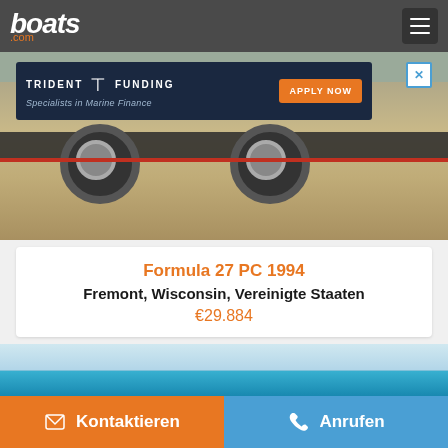boats.com
[Figure (photo): Boat on trailer parked on gravel/sand with marine finance advertisement overlay (Trident Funding - Specialists in Marine Finance - APPLY NOW)]
Formula 27 PC 1994
Fremont, Wisconsin, Vereinigte Staaten
€29.884
[Figure (photo): Aerial or water-level view of turquoise blue ocean/sea]
Kontaktieren
Anrufen